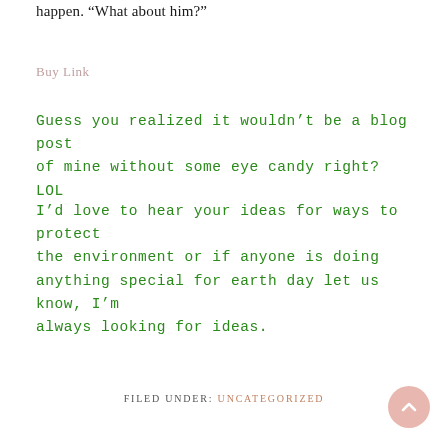happen. “What about him?”
Buy Link
Guess you realized it wouldn’t be a blog post of mine without some eye candy right? LOL
I’d love to hear your ideas for ways to protect the environment or if anyone is doing anything special for earth day let us know, I’m always looking for ideas.
FILED UNDER: UNCATEGORIZED